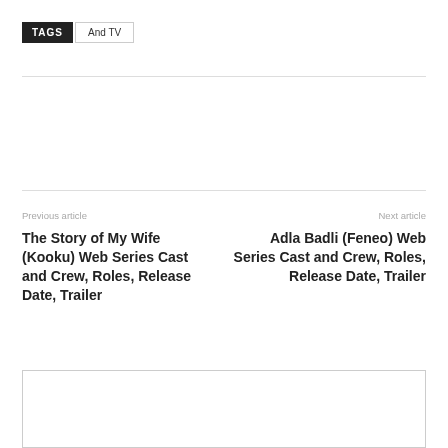TAGS   And TV
Previous article
Next article
The Story of My Wife (Kooku) Web Series Cast and Crew, Roles, Release Date, Trailer
Adla Badli (Feneo) Web Series Cast and Crew, Roles, Release Date, Trailer